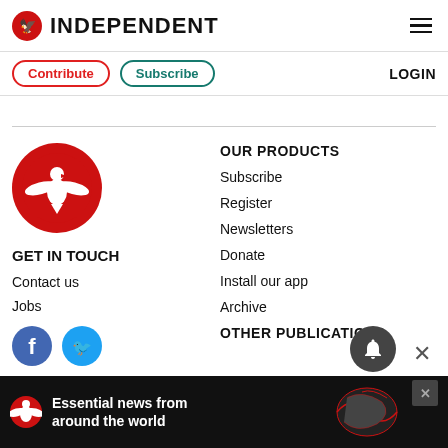INDEPENDENT
Contribute | Subscribe | LOGIN
[Figure (logo): Independent newspaper red eagle logo circle]
GET IN TOUCH
Contact us
Jobs
[Figure (illustration): Facebook and Twitter social media icons]
OUR PRODUCTS
Subscribe
Register
Newsletters
Donate
Install our app
Archive
OTHER PUBLICATIONS
[Figure (screenshot): Ad banner: Essential news from around the world, with Independent logo and globe map illustration]